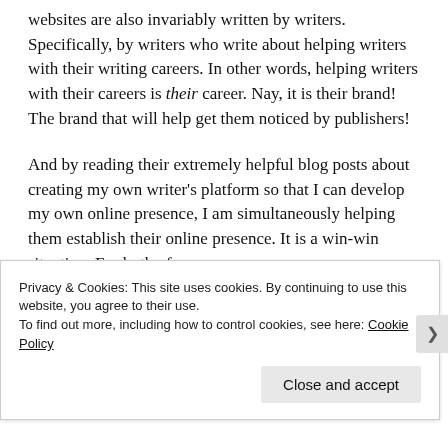websites are also invariably written by writers. Specifically, by writers who write about helping writers with their writing careers. In other words, helping writers with their careers is their career. Nay, it is their brand! The brand that will help get them noticed by publishers!
And by reading their extremely helpful blog posts about creating my own writer's platform so that I can develop my own online presence, I am simultaneously helping them establish their online presence. It is a win-win situation. For both of us.
And now, by reading this – my very first blog post – you, dear reader, are presently participating in my newly
Privacy & Cookies: This site uses cookies. By continuing to use this website, you agree to their use. To find out more, including how to control cookies, see here: Cookie Policy